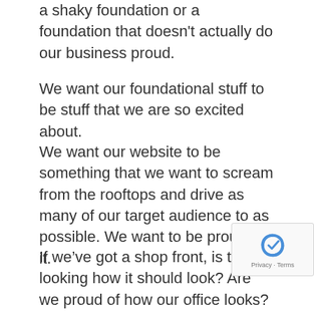a shaky foundation or a foundation that doesn't actually do our business proud.
We want our foundational stuff to be stuff that we are so excited about.
We want our website to be something that we want to scream from the rooftops and drive as many of our target audience to as possible. We want to be proud of it.
If we've got a shop front, is this looking how it should look? Are we proud of how our office looks?
Is our signage looking professional?
Are the cars that have our brands all over them creating the right impression?
Really make sure that your brand and website are